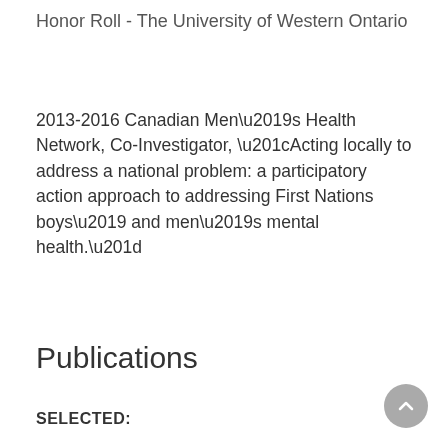Honor Roll - The University of Western Ontario
2013-2016 Canadian Men’s Health Network, Co-Investigator, “Acting locally to address a national problem: a participatory action approach to addressing First Nations boys’ and men’s mental health.”
Publications
SELECTED: